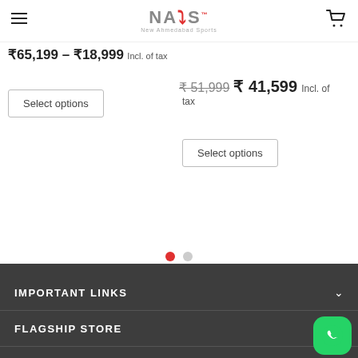NAS™ New Ahmedabad Sports
₹65,199 – ₹18,999 Incl. of tax
₹ 51,999  ₹ 41,599 Incl. of tax
Select options
Select options
IMPORTANT LINKS
FLAGSHIP STORE
FOLLOW US